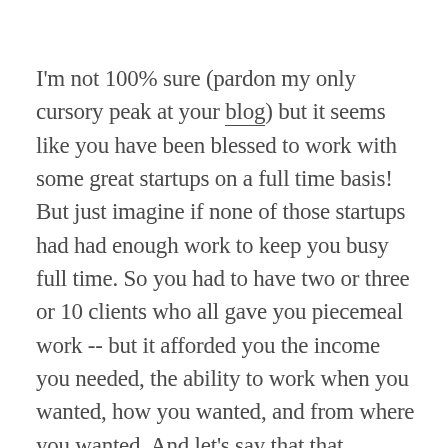I'm not 100% sure (pardon my only cursory peak at your blog) but it seems like you have been blessed to work with some great startups on a full time basis! But just imagine if none of those startups had had enough work to keep you busy full time. So you had to have two or three or 10 clients who all gave you piecemeal work -- but it afforded you the income you needed, the ability to work when you wanted, how you wanted, and from where you wanted. And let's say that that arrangement was one that was a win-win for you as well as the startup... how would you feel suddenly if a blunt object like #Dynamex took it all away based not on the facts of YOUR relationship with those startups but on the